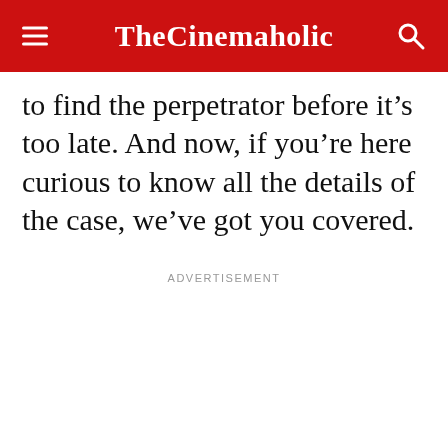TheCinemaholic
to find the perpetrator before it’s too late. And now, if you’re here curious to know all the details of the case, we’ve got you covered.
ADVERTISEMENT